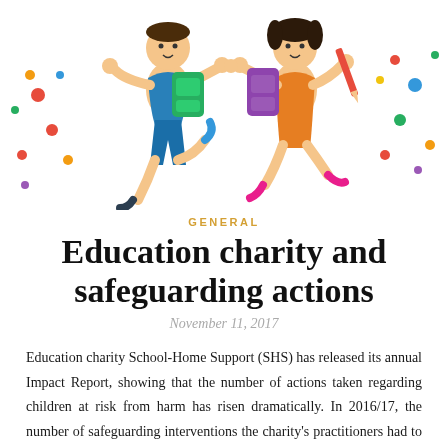[Figure (illustration): Cartoon illustration of two children running and jumping with colorful backpacks, surrounded by colorful dots. One child wears blue shorts and carries a green backpack; the other wears an orange dress and carries a pink/purple backpack.]
GENERAL
Education charity and safeguarding actions
November 11, 2017
Education charity School-Home Support (SHS) has released its annual Impact Report, showing that the number of actions taken regarding children at risk from harm has risen dramatically. In 2016/17, the number of safeguarding interventions the charity's practitioners had to make had